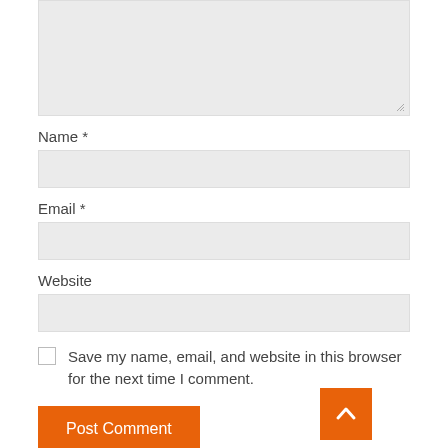[Figure (screenshot): Textarea input box (cut off at top), light gray background with resize handle at bottom right]
Name *
[Figure (screenshot): Name input field, light gray background]
Email *
[Figure (screenshot): Email input field, light gray background]
Website
[Figure (screenshot): Website input field, light gray background]
Save my name, email, and website in this browser for the next time I comment.
Post Comment
MORE NEWS